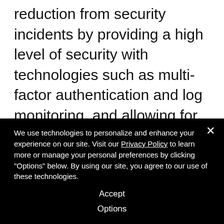reduction from security incidents by providing a high level of security with technologies such as multi-factor authentication and log monitoring, and allowing for rapid detection, response, and recovery in the event of an external cyberattack.
NTT DATA considers today's increasingly complex cyberattacks to be a management
We use technologies to personalize and enhance your experience on our site. Visit our Privacy Policy to learn more or manage your personal preferences by clicking "Options" below. By using our site, you agree to our use of these technologies.
Accept
Options